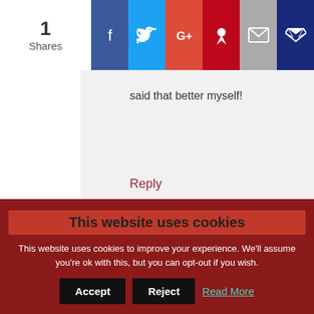[Figure (infographic): Social share bar with share count '1 Shares' and buttons for Facebook, Twitter, Google+, Pinterest, Email, and another dark blue icon]
said that better myself!
Reply
Dan Colageo says
AT
This website uses cookies
This website uses cookies to improve your experience. We'll assume you're ok with this, but you can opt-out if you wish.
Accept
Reject
Read More